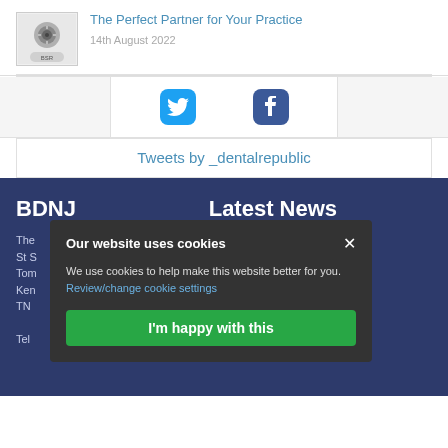[Figure (photo): Thumbnail image of a dental/medical product with a logo badge]
The Perfect Partner for Your Practice
14th August 2022
[Figure (logo): Twitter bird icon in blue rounded square]
[Figure (logo): Facebook f icon in dark blue rounded square]
Tweets by _dentalrepublic
BDNJ
Latest News
The... thousands of DCPs St S... nake a compliant Tom... atement Ken... 16th August 2022 TN...
...blishes 2021 ...to practise and
Tel...
Our website uses cookies
We use cookies to help make this website better for you. Review/change cookie settings
I'm happy with this